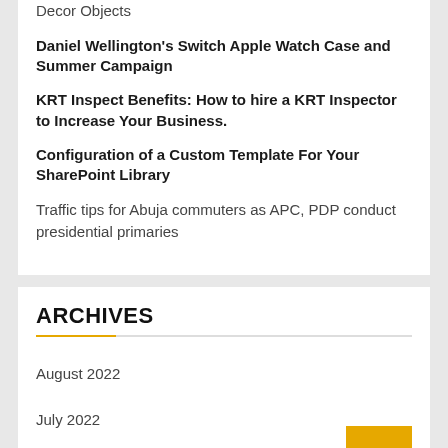Decor Objects
Daniel Wellington's Switch Apple Watch Case and Summer Campaign
KRT Inspect Benefits: How to hire a KRT Inspector to Increase Your Business.
Configuration of a Custom Template For Your SharePoint Library
Traffic tips for Abuja commuters as APC, PDP conduct presidential primaries
ARCHIVES
August 2022
July 2022
May 2022